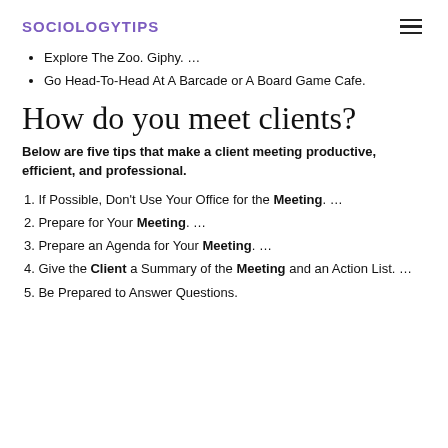SOCIOLOGYTIPS
Explore The Zoo. Giphy. …
Go Head-To-Head At A Barcade or A Board Game Cafe.
How do you meet clients?
Below are five tips that make a client meeting productive, efficient, and professional.
If Possible, Don't Use Your Office for the Meeting. …
Prepare for Your Meeting. …
Prepare an Agenda for Your Meeting. …
Give the Client a Summary of the Meeting and an Action List. …
Be Prepared to Answer Questions.